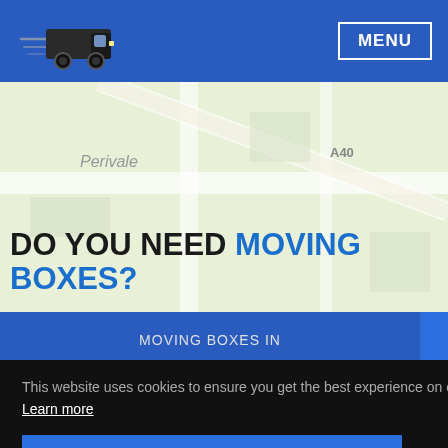MENU
[Figure (illustration): Moving truck logo with speed lines, dark colored truck facing right]
DO YOU NEED MOVING BOXES?
MOVING BOXES IN GOLDHAWK
This website uses cookies to ensure you get the best experience on our website.
Learn more
Got it!